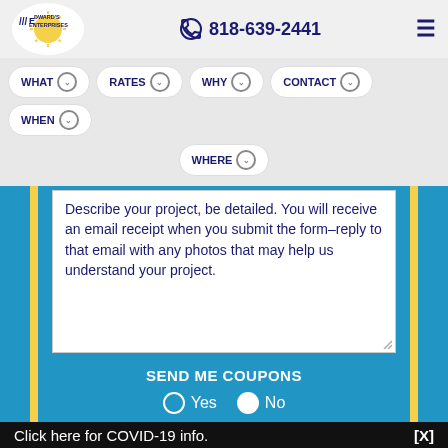[Figure (logo): Edward's Enterprises logo in oval shape]
818-639-2441
WHAT  RATES  WHY  CONTACT  WHEN  WHERE
Describe your project, be detailed. You will receive an email receipt when you submit the form–reply to that email with any photos that may help us understand your project.
SEND ME COUPONS
Yes  No
Click here for COVID-19 info.  [X]